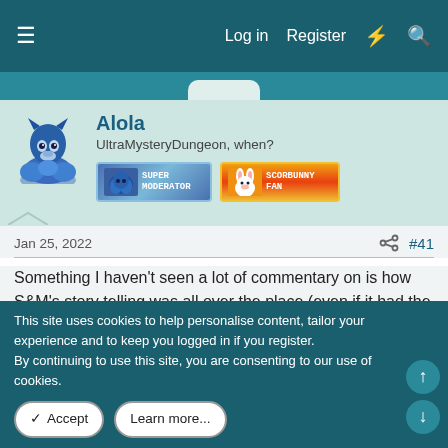Log in  Register
Alola
UltraMysteryDungeon, when?
[SUPER MODERATOR badge] [SCORBUNNY FAN badge]
Jan 25, 2022  #41
Something I haven't seen a lot of commentary on is how S&M's story telling was all over the place (even if it had the rare gem now and then, such as Mallow's episode with her mother).

Rather than travel through each island as Ash would have done
This site uses cookies to help personalise content, tailor your experience and to keep you logged in if you register.
By continuing to use this site, you are consenting to our use of cookies.
✓ Accept   Learn more...